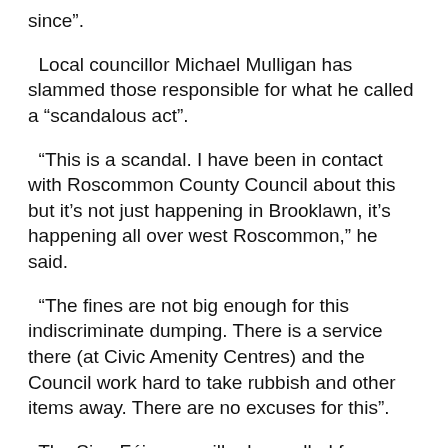since”.
Local councillor Michael Mulligan has slammed those responsible for what he called a “scandalous act”.
“This is a scandal. I have been in contact with Roscommon County Council about this but it’s not just happening in Brooklawn, it’s happening all over west Roscommon,” he said.
“The fines are not big enough for this indiscriminate dumping. There is a service there (at Civic Amenity Centres) and the Council work hard to take rubbish and other items away. There are no excuses for this”.
The Sinn Féin councillor has called for greater enforcement of fines and increased surveillance of known dumping blackspots.